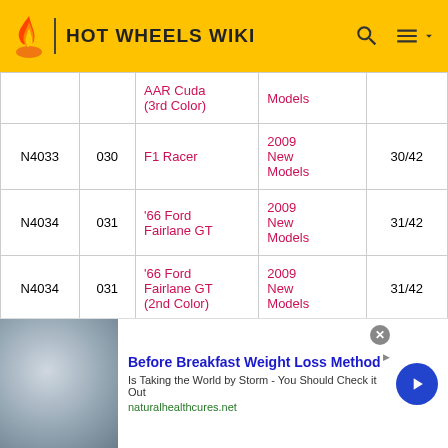HOT WHEELS WIKI
| ID | # | Name | Series | Col# |
| --- | --- | --- | --- | --- |
|  |  | AAR Cuda (3rd Color) | Models |  |
| N4033 | 030 | F1 Racer | 2009 New Models | 30/42 |
| N4034 | 031 | '66 Ford Fairlane GT | 2009 New Models | 31/42 |
| N4034 | 031 | '66 Ford Fairlane GT (2nd Color) | 2009 New Models | 31/42 |
| N4035 | 032 | Tread Air | 2009 | 32/42 |